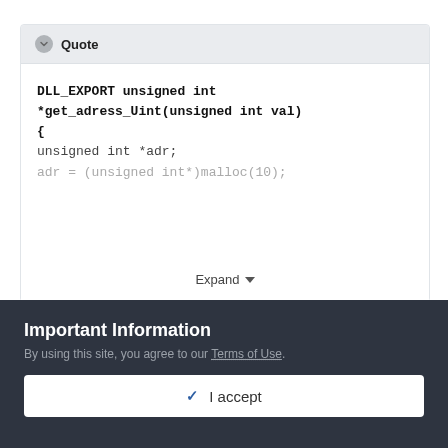Quote
DLL_EXPORT unsigned int *get_adress_Uint(unsigned int val)
{
unsigned int *adr;
adr = (unsigned int*)malloc(10);
Expand
Important Information
By using this site, you agree to our Terms of Use.
✓ I accept